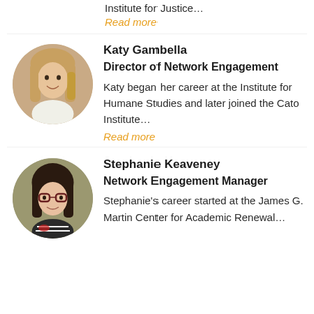Institute for Justice…
Read more
[Figure (photo): Circular headshot photo of Katy Gambella, a woman with long blonde hair]
Katy Gambella
Director of Network Engagement
Katy began her career at the Institute for Humane Studies and later joined the Cato Institute…
Read more
[Figure (photo): Circular headshot photo of Stephanie Keaveney, a woman with dark hair and glasses]
Stephanie Keaveney
Network Engagement Manager
Stephanie's career started at the James G. Martin Center for Academic Renewal…